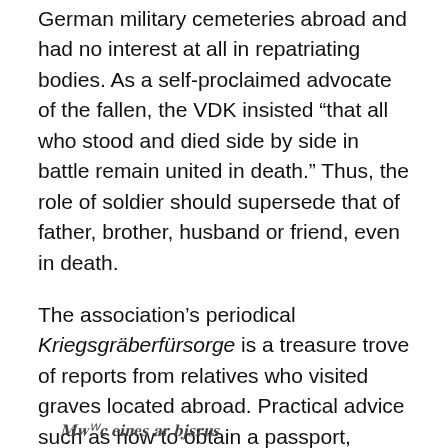German military cemeteries abroad and had no interest at all in repatriating bodies. As a self-proclaimed advocate of the fallen, the VDK insisted “that all who stood and died side by side in battle remain united in death.” Thus, the role of soldier should supersede that of father, brother, husband or friend, even in death.
The association’s periodical Kriegsgräberfürsorge is a treasure trove of reports from relatives who visited graves located abroad. Practical advice such as how to obtain a passport, where to stay, what costs to expect, take up a lot of space, just as one would expect with “normal” tourist travel. As an example, the rather negative review of the travel agency Thomas Cook by a German tourist in 1924, who complained that the tour guides were “sprouting French propaganda”: